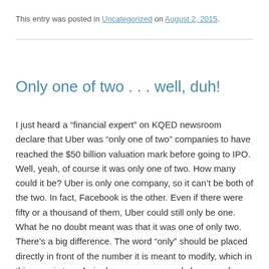This entry was posted in Uncategorized on August 2, 2015.
Only one of two . . . well, duh!
I just heard a “financial expert” on KQED newsroom declare that Uber was “only one of two” companies to have reached the $50 billion valuation mark before going to IPO. Well, yeah, of course it was only one of two. How many could it be? Uber is only one company, so it can’t be both of the two. In fact, Facebook is the other. Even if there were fifty or a thousand of them, Uber could still only be one. What he no doubt meant was that it was one of only two. There’s a big difference. The word “only” should be placed directly in front of the number it is meant to modify, which in this case is two. A single company can only be one, of course, so there is no